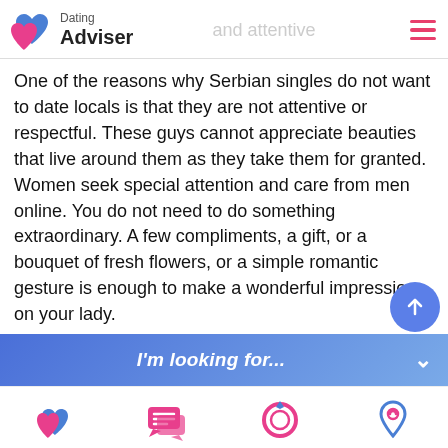Dating Adviser — and attentive
One of the reasons why Serbian singles do not want to date locals is that they are not attentive or respectful. These guys cannot appreciate beauties that live around them as they take them for granted. Women seek special attention and care from men online. You do not need to do something extraordinary. A few compliments, a gift, or a bouquet of fresh flowers, or a simple romantic gesture is enough to make a wonderful impression on your lady.
I'm looking for...
[Figure (infographic): Bottom navigation bar with four icons: Flirting (two hearts), Chatting (chat bubbles), Marriage (ring), Dating (map pin with heart). Dating is bold/active.]